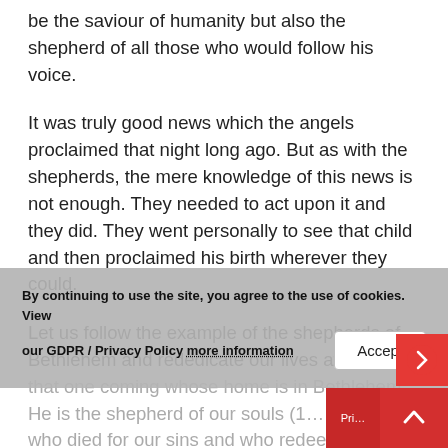be the saviour of humanity but also the shepherd of all those who would follow his voice.
It was truly good news which the angels proclaimed that night long ago. But as with the shepherds, the mere knowledge of this news is not enough. They needed to act upon it and they did. They went personally to see that child and then proclaimed his birth wherever they could.
Let us follow the example of the shepherds of Bethlehem and rededicate our lives afresh to that one coming whose home is in Bethlehem. He is the shepherd of our souls (1... who died for our sins and who redeems us to reign and rule with him for eternity! This is
By continuing to use the site, you agree to the use of cookies. View our GDPR / Privacy Policy more information
Accept